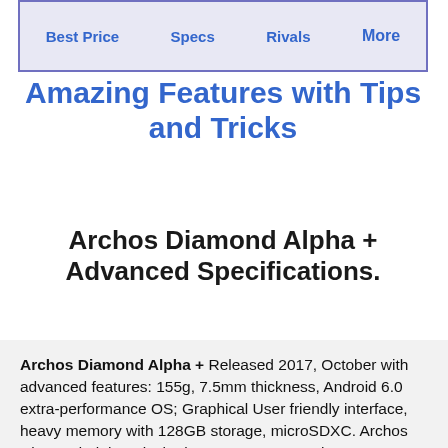Best Price | Specs | Rivals | More
Amazing Features with Tips and Tricks
Archos Diamond Alpha + Advanced Specifications.
Archos Diamond Alpha + Released 2017, October with advanced features: 155g, 7.5mm thickness, Android 6.0 extra-performance OS; Graphical User friendly interface, heavy memory with 128GB storage, microSDXC. Archos Diamond Alpha + is the best … es with 6 … 13 addon … en with